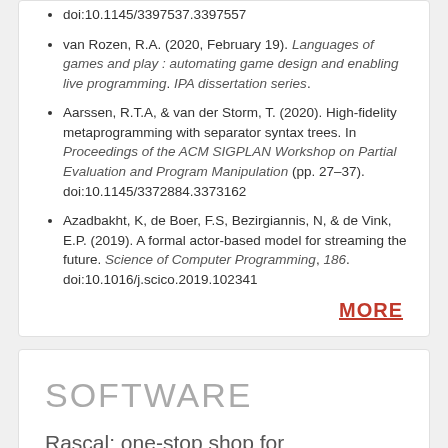doi:10.1145/3397537.3397557
van Rozen, R.A. (2020, February 19). Languages of games and play : automating game design and enabling live programming. IPA dissertation series.
Aarssen, R.T.A, & van der Storm, T. (2020). High-fidelity metaprogramming with separator syntax trees. In Proceedings of the ACM SIGPLAN Workshop on Partial Evaluation and Program Manipulation (pp. 27–37). doi:10.1145/3372884.3373162
Azadbakht, K, de Boer, F.S, Bezirgiannis, N, & de Vink, E.P. (2019). A formal actor-based model for streaming the future. Science of Computer Programming, 186. doi:10.1016/j.scico.2019.102341
MORE
SOFTWARE
Rascal: one-stop shop for